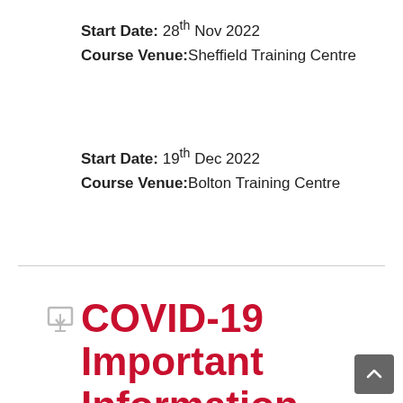Start Date: 28th Nov 2022
Course Venue: Sheffield Training Centre
Start Date: 19th Dec 2022
Course Venue: Bolton Training Centre
COVID-19 Important Information